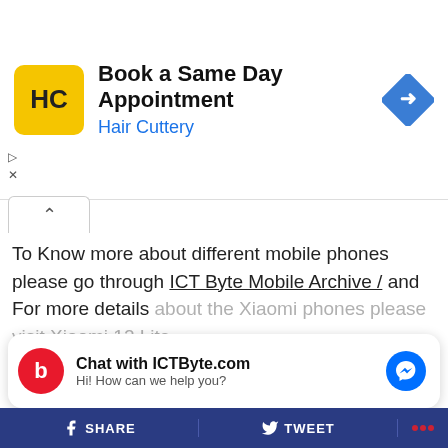[Figure (screenshot): Advertisement banner for Hair Cuttery with yellow HC logo, title 'Book a Same Day Appointment', subtitle 'Hair Cuttery' in blue, and a blue diamond navigation icon on the right.]
To Know more about different mobile phones please go through ICT Byte Mobile Archive / and For more details about the Xiaomi phones please visit Xiaomi 12 Lite.
CONTINUE READING
[Figure (infographic): Red parallelogram badge with white italic bold text '30 DAYS LOVED' centered between two horizontal lines]
[Figure (screenshot): Chat widget with red 'b' logo, title 'Chat with ICTByte.com', subtitle 'Hi! How can we help you?' and blue Messenger icon]
f SHARE   TWEET   ...